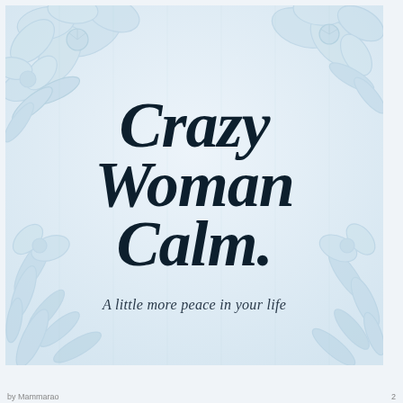[Figure (illustration): Book cover with light blue floral background illustration featuring large blooms and leaves in pale blue watercolor style, with bold italic dark serif title text 'Crazy Woman Calm.' and italic subtitle 'A little more peace in your life']
Crazy Woman Calm.
A little more peace in your life
by Mammarao